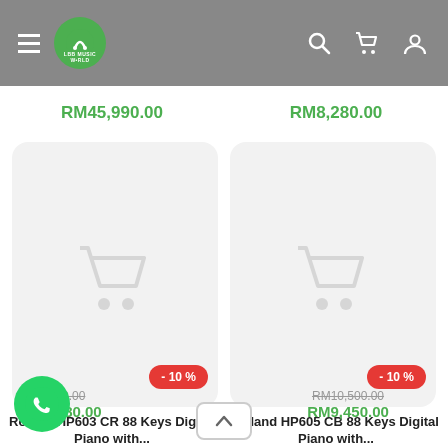LBB Music World navigation header with logo, search, cart and account icons
RM45,990.00   RM8,280.00
[Figure (screenshot): Product card for Roland HP603 CR 88 Keys Digital Piano with shopping cart placeholder image and -10% discount badge]
[Figure (screenshot): Product card for Roland HP605 CB 88 Keys Digital Piano with shopping cart placeholder image and -10% discount badge]
Roland HP603 CR 88 Keys Digital Piano with...
RM9,200.00
RM8,280.00
Roland HP605 CB 88 Keys Digital Piano with...
RM10,500.00
RM9,450.00